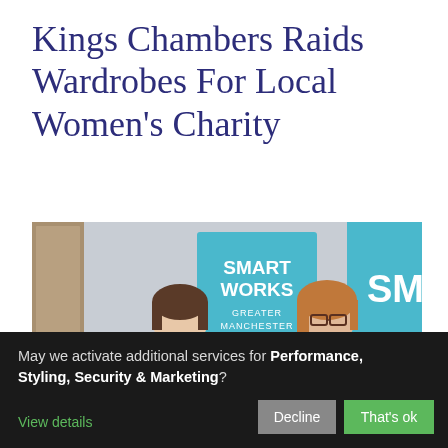Kings Chambers Raids Wardrobes For Local Women's Charity
[Figure (photo): Two women standing in front of Smart Works Greater Manchester banners. Overlaid text reads: Kings Chambers is pledging its support for a Manchester charity which supports women into employment.]
May we activate additional services for Performance, Styling, Security & Marketing?
View details
Decline
That's ok